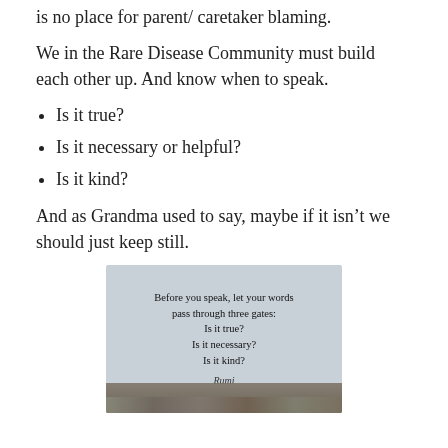is no place for parent/ caretaker blaming.
We in the Rare Disease Community must build each other up. And know when to speak.
Is it true?
Is it necessary or helpful?
Is it kind?
And as Grandma used to say, maybe if it isn't we should just keep still.
[Figure (illustration): Quote image with light gray-blue background and text: 'Before you speak, let your words pass through three gates: Is it true? Is it necessary? Is it kind?' attributed to Rumi, with rocks/landscape at bottom.]